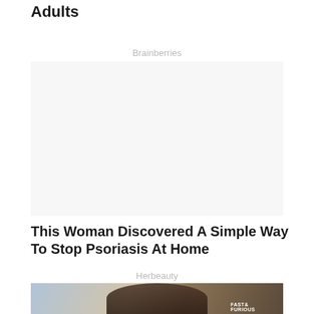Adults
Brainberries
[Figure (other): Advertisement placeholder space (Brainberries ad unit)]
This Woman Discovered A Simple Way To Stop Psoriasis At Home
Herbeauty
[Figure (photo): Photo of a woman with dark hair at a Fast & Furious event with a crowd in the background]